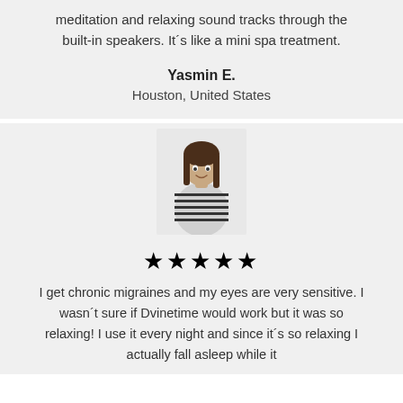meditation and relaxing sound tracks through the built-in speakers. It´s like a mini spa treatment.
Yasmin E.
Houston, United States
[Figure (photo): Photo of a young woman with long dark hair wearing a striped black and white top, standing against a light background]
★★★★★
I get chronic migraines and my eyes are very sensitive. I wasn´t sure if Dvinetime would work but it was so relaxing! I use it every night and since it´s so relaxing I actually fall asleep while it